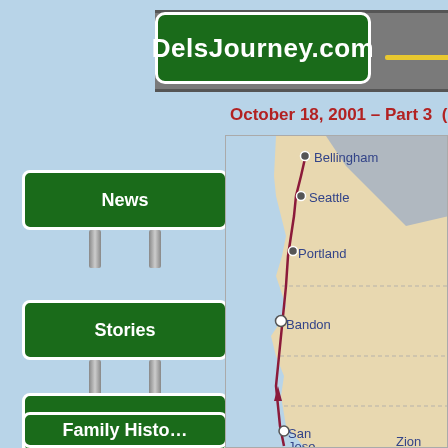DelsJourney.com
October 18, 2001 – Part 3  (Bi...
News
Stories
Close-Ups
Family Histo...
[Figure (map): Map of western United States showing route along Pacific Coast with cities labeled: Bellingham, Seattle, Portland, Bandon, San Jose, Zion. Route shown in dark red/maroon line along coast with city markers.]